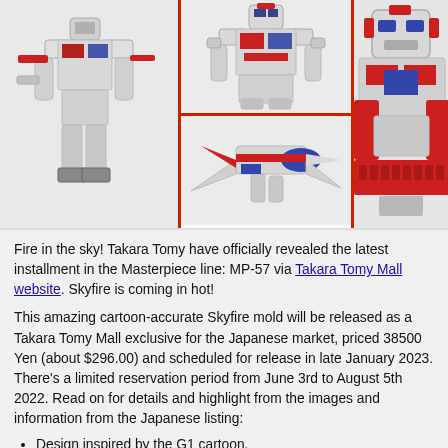[Figure (photo): A collage of four product photos showing the Transformers Masterpiece MP-57 Skyfire figure in various poses and modes. Left: robot mode side view. Center top: robot mode front view. Center bottom: transformation/jet mode. Right: close-up detail of the figure.]
Fire in the sky! Takara Tomy have officially revealed the latest installment in the Masterpiece line: MP-57 via Takara Tomy Mall website. Skyfire is coming in hot!
This amazing cartoon-accurate Skyfire mold will be released as a Takara Tomy Mall exclusive for the Japanese market, priced 38500 Yen (about $296.00) and scheduled for release in late January 2023. There's a limited reservation period from June 3rd to August 5th 2022. Read on for details and highlight from the images and information from the Japanese listing:
Design inspired by the G1 cartoon.
35 cm tall. We have comparison shots next to Masterpiece